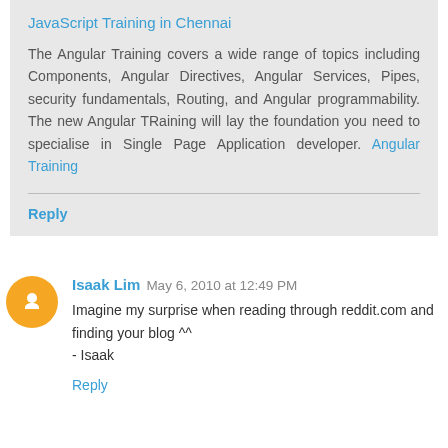JavaScript Training in Chennai
The Angular Training covers a wide range of topics including Components, Angular Directives, Angular Services, Pipes, security fundamentals, Routing, and Angular programmability. The new Angular TRaining will lay the foundation you need to specialise in Single Page Application developer. Angular Training
Reply
Isaak Lim  May 6, 2010 at 12:49 PM
Imagine my surprise when reading through reddit.com and finding your blog ^^
- Isaak
Reply